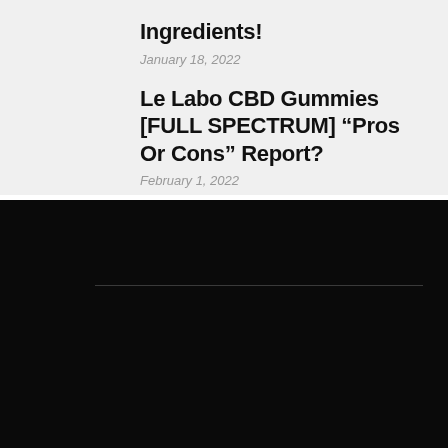Ingredients!
January 18, 2022
Le Labo CBD Gummies [FULL SPECTRUM] “Pros Or Cons” Report?
February 1, 2022